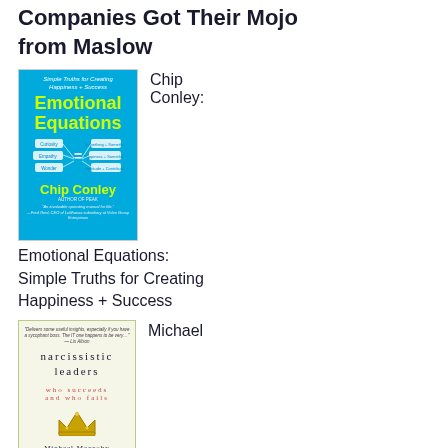Companies Got Their Mojo from Maslow
[Figure (illustration): Book cover of 'Emotional Equations: Simple Truths for Creating Happiness + Success' by Chip Conley. Blue cover with yellow-green title text and equations diagram.]
Chip Conley:
Emotional Equations: Simple Truths for Creating Happiness + Success
[Figure (illustration): Book cover of 'Narcissistic Leaders: Who Succeeds and Who Fails' by Michael Maccoby. Light/cream cover with green border, serif text and crown illustration.]
Michael
Maccoby: Narcissistic